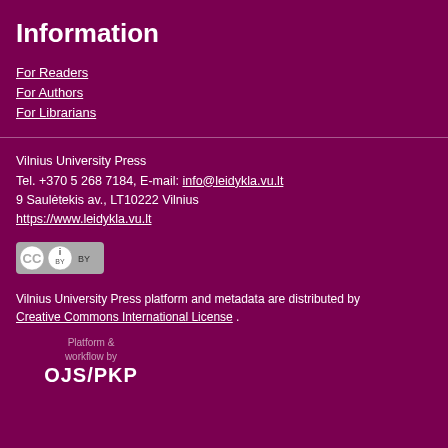Information
For Readers
For Authors
For Librarians
Vilnius University Press
Tel. +370 5 268 7184, E-mail: info@leidykla.vu.lt
9 Saulėtekis av., LT10222 Vilnius
https://www.leidykla.vu.lt
[Figure (logo): Creative Commons BY license badge]
Vilnius University Press platform and metadata are distributed by Creative Commons International License .
Platform & workflow by OJS/PKP